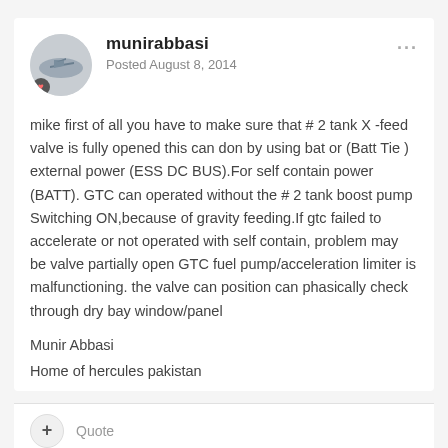munirabbasi
Posted August 8, 2014
mike first of all you have to make sure that # 2 tank X -feed valve is fully opened this can don by using bat or (Batt Tie ) external power (ESS DC BUS).For self contain power (BATT). GTC can operated without the # 2 tank boost pump Switching ON,because of gravity feeding.If gtc failed to accelerate or not operated with self contain, problem may be valve partially open GTC fuel pump/acceleration limiter is malfunctioning. the valve can position can phasically check through dry bay window/panel
Munir Abbasi
Home of hercules pakistan